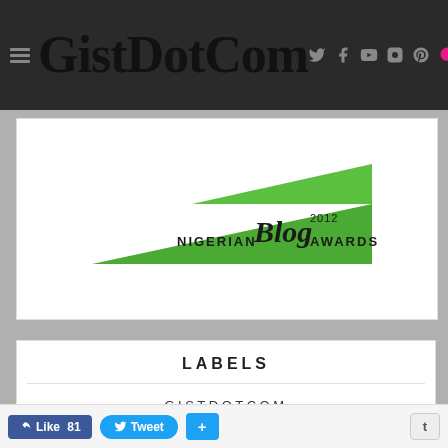GistDotCom
[Figure (logo): Nigerian Blog Awards 2012 logo — green triangle shape with cursive 'Blog' text and 'NIGERIAN BLOG AWARDS 2012' lettering]
LABELS
GISTDOTCOM
NEWS & EVENTS
Like 81  Tweet  +  t